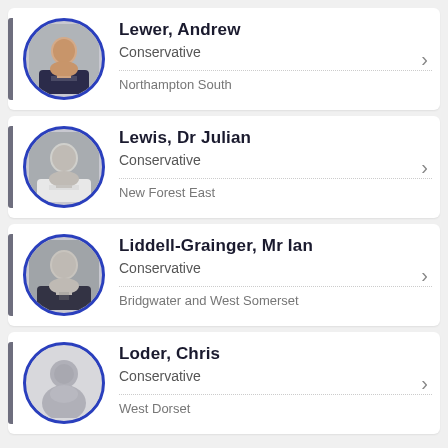Lewer, Andrew | Conservative | Northampton South
Lewis, Dr Julian | Conservative | New Forest East
Liddell-Grainger, Mr Ian | Conservative | Bridgwater and West Somerset
Loder, Chris | Conservative | West Dorset